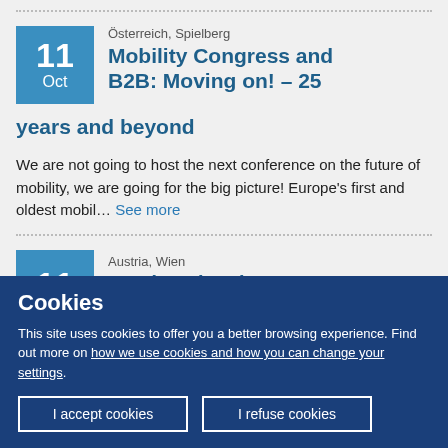Österreich, Spielberg
Mobility Congress and B2B: Moving on! - 25 years and beyond
We are not going to host the next conference on the future of mobility, we are going for the big picture! Europe's first and oldest mobil... See more
Austria, Wien
Food Marketplace 2022
Cookies
This site uses cookies to offer you a better browsing experience. Find out more on how we use cookies and how you can change your settings.
I accept cookies
I refuse cookies